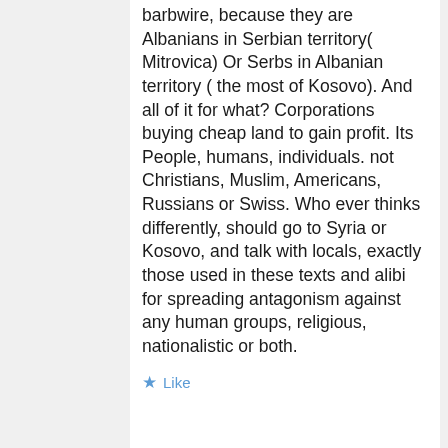barbwire, because they are Albanians in Serbian territory( Mitrovica) Or Serbs in Albanian territory ( the most of Kosovo). And all of it for what? Corporations buying cheap land to gain profit. Its People, humans, individuals. not Christians, Muslim, Americans, Russians or Swiss. Who ever thinks differently, should go to Syria or Kosovo, and talk with locals, exactly those used in these texts and alibi for spreading antagonism against any human groups, religious, nationalistic or both.
Like